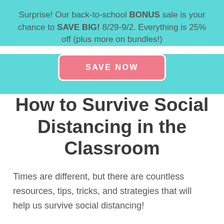Surprise! Our back-to-school BONUS sale is your chance to SAVE BIG! 8/29-9/2. Everything is 25% off (plus more on bundles!)
[Figure (other): Pink rounded button with white text reading SAVE NOW]
How to Survive Social Distancing in the Classroom
Times are different, but there are countless resources, tips, tricks, and strategies that will help us survive social distancing!